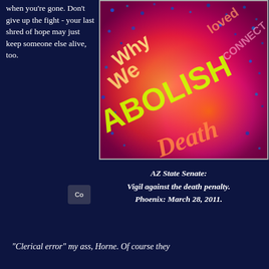when you're gone. Don't give up the fight - your last shred of hope may just keep someone else alive, too.
[Figure (photo): A heat-map style infrared or false-color photograph of chalk or painted text on a surface reading 'Why We ABOLISH Death' with swirling red, magenta, yellow, blue colors.]
AZ State Senate: Vigil against the death penalty. Phoenix: March 28, 2011.
"Clerical error" my ass, Horne. Of course they